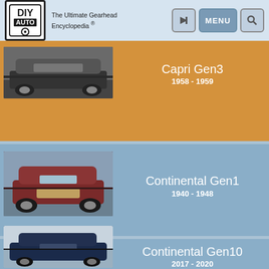DIY AUTO — The Ultimate Gearhead Encyclopedia ®
[Figure (photo): Front view of a classic 1958-1959 Lincoln Capri Gen3 car, black and white, at a car show]
Capri Gen3
1958 - 1959
[Figure (photo): Front close-up of a dark red classic 1940-1948 Lincoln Continental Gen1 convertible at a car show]
Continental Gen1
1940 - 1948
[Figure (photo): Side rear view of a dark blue 2017-2020 Lincoln Continental Gen10 sedan at an auto show]
Continental Gen10
2017 - 2020